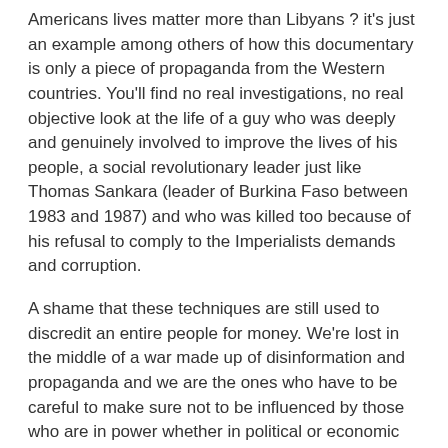Americans lives matter more than Libyans ? it's just an example among others of how this documentary is only a piece of propaganda from the Western countries. You'll find no real investigations, no real objective look at the life of a guy who was deeply and genuinely involved to improve the lives of his people, a social revolutionary leader just like Thomas Sankara (leader of Burkina Faso between 1983 and 1987) and who was killed too because of his refusal to comply to the Imperialists demands and corruption.
A shame that these techniques are still used to discredit an entire people for money. We're lost in the middle of a war made up of disinformation and propaganda and we are the ones who have to be careful to make sure not to be influenced by those who are in power whether in political or economic system.
Reply ↲